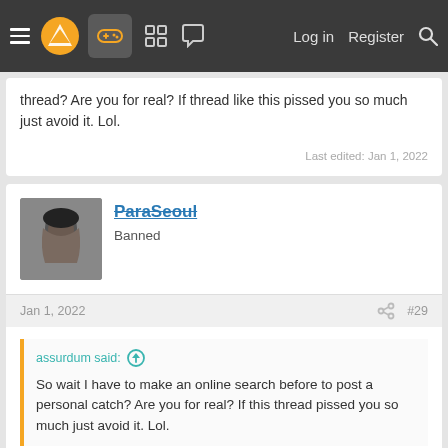Navigation bar with menu, logo, game icon, grid icon, chat icon, Log in, Register, Search
thread? Are you for real? If thread like this pissed you so much just avoid it. Lol.
Last edited: Jan 1, 2022
ParaSeoul
Banned
Jan 1, 2022
#29
assurdum said:
So wait I have to make an online search before to post a personal catch? Are you for real? If this thread pissed you so much just avoid it. Lol.
[Figure (photo): Dark photo of a person with dark hair, eyes partially closed, set against a dark background]